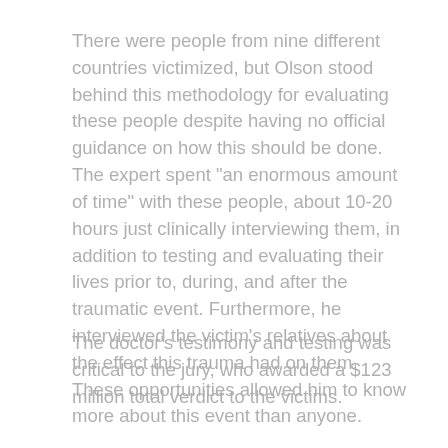There were people from nine different countries victimized, but Olson stood behind this methodology for evaluating these people despite having no official guidance on how this should be done. The expert spent "an enormous amount of time" with these people, about 10-20 hours just clinically interviewing them, in addition to testing and evaluating their lives prior to, during, and after the traumatic event. Furthermore, he interviewed the victim's relatives about the effect this trauma had on them. These opportunities allowed him to know more about this event than anyone.
The doctor's testimony and testing was critical to the jury, who awarded a $123 million total verdict to the victims.